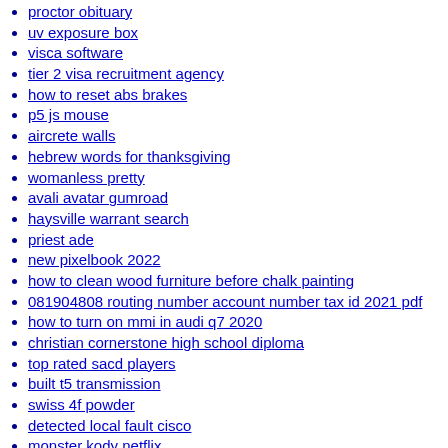proctor obituary
uv exposure box
visca software
tier 2 visa recruitment agency
how to reset abs brakes
p5 js mouse
aircrete walls
hebrew words for thanksgiving
womanless pretty
avali avatar gumroad
haysville warrant search
priest ade
new pixelbook 2022
how to clean wood furniture before chalk painting
081904808 routing number account number tax id 2021 pdf
how to turn on mmi in audi q7 2020
christian cornerstone high school diploma
top rated sacd players
built t5 transmission
swiss 4f powder
detected local fault cisco
monster kody netflix
udeler github for android
outlook 365 cursor jumps to top
ct trout fishing report